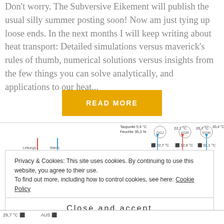Don't worry. The Subversive Eikement will publish the usual silly summer posting soon! Now am just tying up loose ends. In the next months I will keep writing about heat transport: Detailed simulations versus maverick's rules of thumb, numerical solutions versus insights from the few things you can solve analytically, and applications to our heat...
[Figure (other): READ MORE button in orange/yellow color]
[Figure (engineering-diagram): Engineering schematic showing heat pump/HVAC system with components labeled: Taupunkt 5,4°C, Feuchte 35.3%, OGJ 22.1°C, EGR 20.7°C, EGW 20.4°C, temperatures 22.7°C, 32.9°C, 32.1°C, AUS, EIN, VEIN labels, Leitungswasser, Warmwasser labels, and weather station display showing 2.7°C Aussen, 07:16, 16:58, 154 W/m² Globalstrahlung, 5.7°C]
Privacy & Cookies: This site uses cookies. By continuing to use this website, you agree to their use.
To find out more, including how to control cookies, see here: Cookie Policy
Close and accept
[Figure (engineering-diagram): Bottom strip showing partial engineering diagram with AUS label and flow arrows]